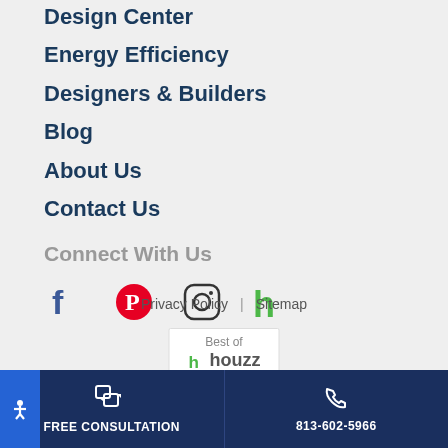Design Center
Energy Efficiency
Designers & Builders
Blog
About Us
Contact Us
Connect With Us
[Figure (infographic): Social media icons: Facebook (blue), Pinterest (red), Instagram (outline), Houzz (green)]
Privacy Policy | Sitemap
[Figure (logo): Best of Houzz badge with houzz logo and rating stars]
FREE CONSULTATION | 813-602-5966